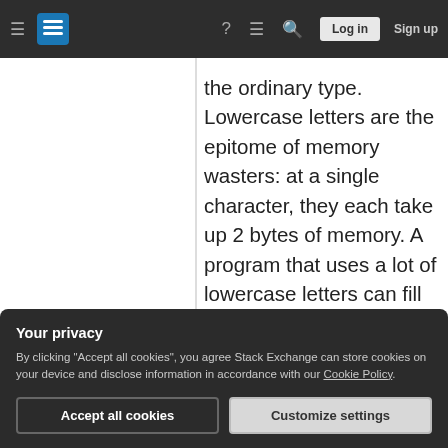Stack Exchange navigation bar with hamburger menu, logo, help, chat, search icons, Log in and Sign up buttons
the ordinary type. Lowercase letters are the epitome of memory wasters: at a single character, they each take up 2 bytes of memory. A program that uses a lot of lowercase letters can fill up all of RAM very quickly! This may be avoided by using uppercase letters instead, which only take up 1 byte each. You can also save memory by replacing words such as "If", " or ", " and " with the appropriate commands, when displaying text. Such a command will only
Your privacy
By clicking "Accept all cookies", you agree Stack Exchange can store cookies on your device and disclose information in accordance with our Cookie Policy.
Accept all cookies    Customize settings